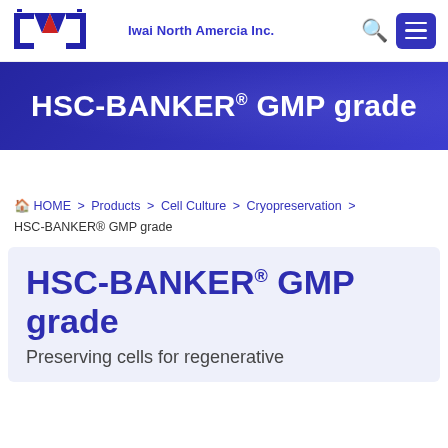Iwai North Amercia Inc.
HSC-BANKER® GMP grade
HOME > Products > Cell Culture > Cryopreservation > HSC-BANKER® GMP grade
HSC-BANKER® GMP grade
Preserving cells for regenerative